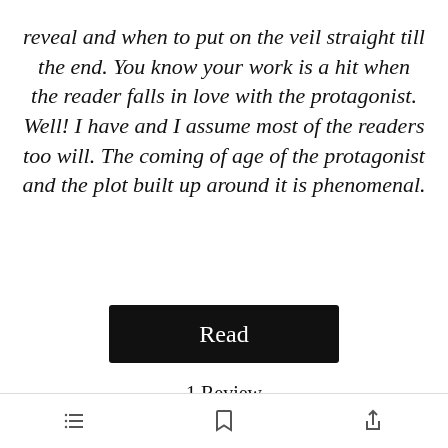reveal and when to put on the veil straight till the end. You know your work is a hit when the reader falls in love with the protagonist. Well! I have and I assume most of the readers too will. The coming of age of the protagonist and the plot built up around it is phenomenal.
[Figure (screenshot): A black button with white text reading 'Read']
1 Review
[Figure (screenshot): A review card with a green 'Open in app' button and text 'Reviewed by Thread']
Bottom navigation toolbar with list, bookmark, and share icons